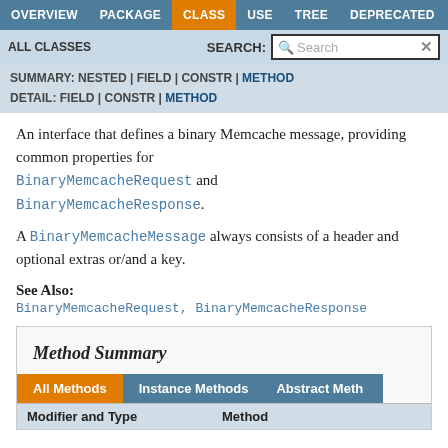OVERVIEW | PACKAGE | CLASS | USE | TREE | DEPRECATED
ALL CLASSES | SEARCH:
SUMMARY: NESTED | FIELD | CONSTR | METHOD
DETAIL: FIELD | CONSTR | METHOD
An interface that defines a binary Memcache message, providing common properties for BinaryMemcacheRequest and BinaryMemcacheResponse.

A BinaryMemcacheMessage always consists of a header and optional extras or/and a key.
See Also:
BinaryMemcacheRequest, BinaryMemcacheResponse
Method Summary
All Methods | Instance Methods | Abstract Methods
| Modifier and Type | Method |
| --- | --- |